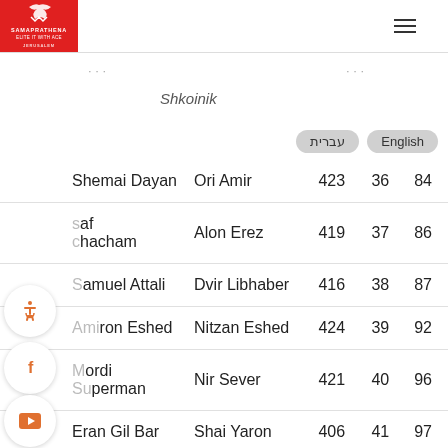Samaprathena — Shkoinik
| Player 1 | Player 2 | Score | Rank | Points |
| --- | --- | --- | --- | --- |
| Shemai Dayan | Ori Amir | 423 | 36 | 84 |
| [A]saf [Ch]acham | Alon Erez | 419 | 37 | 86 |
| [S]amuel Attali | Dvir Libhaber | 416 | 38 | 87 |
| [Ami]ron Eshed | Nitzan Eshed | 424 | 39 | 92 |
| [M]ordi [Su]perman | Nir Sever | 421 | 40 | 96 |
| Eran Gil Bar | Shai Yaron | 406 | 41 | 97 |
| Arye Shalev | Gilad Narkis | 405 | 42 | 100 |